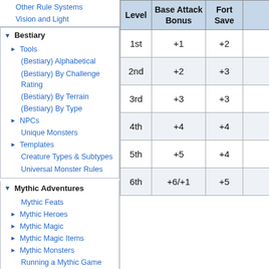Other Rule Systems
Vision and Light
Bestiary
Tools
(Bestiary) Alphabetical
(Bestiary) By Challenge Rating
(Bestiary) By Terrain
(Bestiary) By Type
NPCs
Unique Monsters
Templates
Creature Types & Subtypes
Universal Monster Rules
Mythic Adventures
Mythic Feats
Mythic Heroes
Mythic Magic
Mythic Magic Items
Mythic Monsters
Running a Mythic Game
Psionics
Psionic Alternate Rules
| Level | Base Attack Bonus | Fort Save |  |
| --- | --- | --- | --- |
| 1st | +1 | +2 |  |
| 2nd | +2 | +3 |  |
| 3rd | +3 | +3 |  |
| 4th | +4 | +4 |  |
| 5th | +5 | +4 |  |
| 6th | +6/+1 | +5 |  |